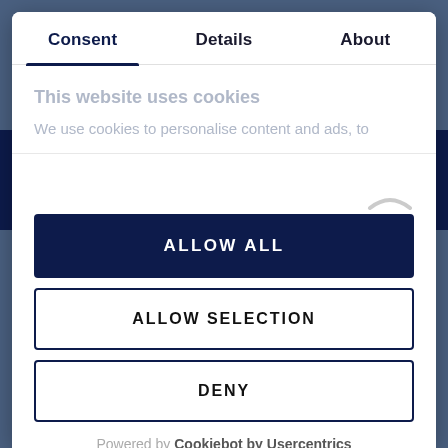Consent	Details	About
This website uses cookies
We use cookies to personalise content and ads, to
ALLOW ALL
ALLOW SELECTION
DENY
Powered by Cookiebot by Usercentrics